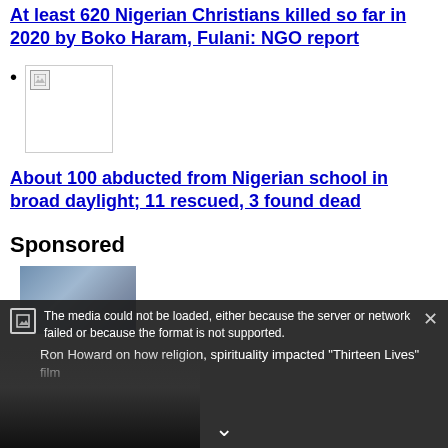At least 620 Nigerian Christians killed so far in 2020 by Boko Haram, Fulani: NGO report
[Figure (photo): Broken/unloaded image thumbnail with small broken image icon]
(bullet point with image)
About 100 abducted from Nigerian school in broad daylight; 11 rescued, 3 found dead
Sponsored
[Figure (photo): Family with dog photo for sponsored content]
The media could not be loaded, either because the server or network failed or because the format is not supported.
Ron Howard on how religion, spirituality impacted "Thirteen Lives" film